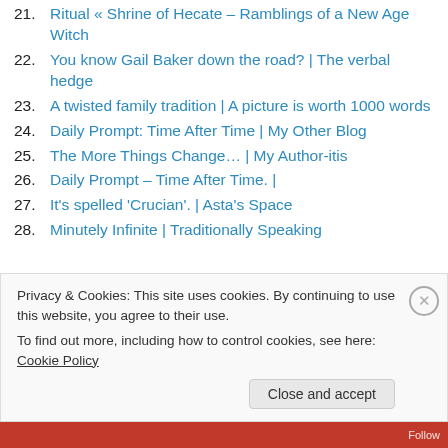21. Ritual « Shrine of Hecate – Ramblings of a New Age Witch
22. You know Gail Baker down the road? | The verbal hedge
23. A twisted family tradition | A picture is worth 1000 words
24. Daily Prompt: Time After Time | My Other Blog
25. The More Things Change… | My Author-itis
26. Daily Prompt – Time After Time. |
27. It's spelled 'Crucian'. | Asta's Space
28. Minutely Infinite | Traditionally Speaking
Privacy & Cookies: This site uses cookies. By continuing to use this website, you agree to their use. To find out more, including how to control cookies, see here: Cookie Policy
Close and accept